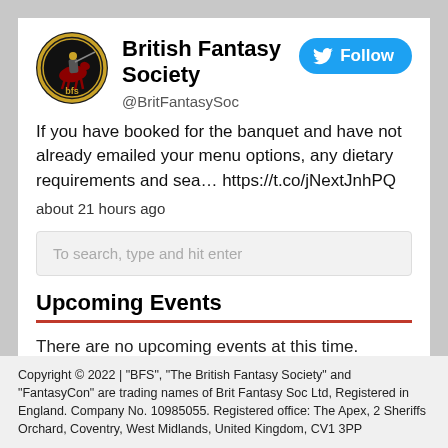[Figure (logo): British Fantasy Society circular logo with gold border and dark background, showing a knight on horseback with 'bfs' text]
British Fantasy Society
@BritFantasySoc
If you have booked for the banquet and have not already emailed your menu options, any dietary requirements and sea… https://t.co/jNextJnhPQ
about 21 hours ago
To search, type and hit enter
Upcoming Events
There are no upcoming events at this time.
Copyright © 2022 | "BFS", "The British Fantasy Society" and "FantasyCon" are trading names of Brit Fantasy Soc Ltd, Registered in England. Company No. 10985055. Registered office: The Apex, 2 Sheriffs Orchard, Coventry, West Midlands, United Kingdom, CV1 3PP